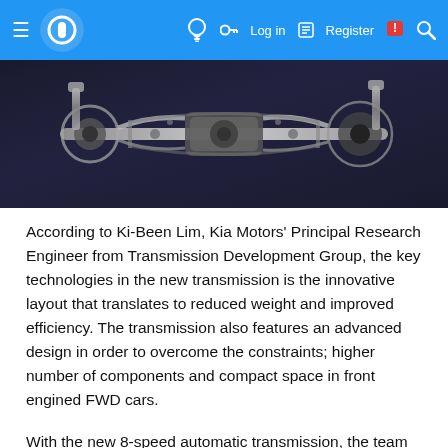≡  00  💡  🔑 Log in  📋 Register  ❕  🔍
[Figure (photo): Photograph of a car chassis/drivetrain assembly showing suspension components, axles, and mechanical parts on a dark background]
According to Ki-Been Lim, Kia Motors' Principal Research Engineer from Transmission Development Group, the key technologies in the new transmission is the innovative layout that translates to reduced weight and improved efficiency. The transmission also features an advanced design in order to overcome the constraints; higher number of components and compact space in front engined FWD cars.
With the new 8-speed automatic transmission, the team not only manage to improve the efficiency and overall drivability of the cars, it enables the transmission to shift smoother (due to higher capacity solenoid valve used), requires less transmission